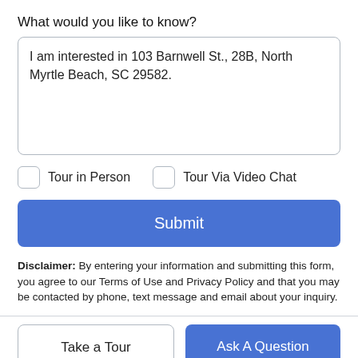What would you like to know?
I am interested in 103 Barnwell St., 28B, North Myrtle Beach, SC 29582.
Tour in Person
Tour Via Video Chat
Submit
Disclaimer: By entering your information and submitting this form, you agree to our Terms of Use and Privacy Policy and that you may be contacted by phone, text message and email about your inquiry.
Take a Tour
Ask A Question